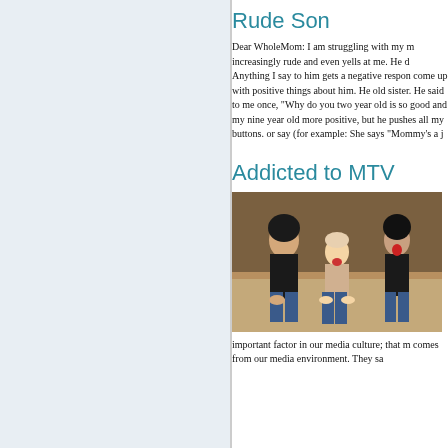Rude Son
Dear WholeMom: I am struggling with my m increasingly rude and even yells at me. He d Anything I say to him gets a negative respon come up with positive things about him. He old sister. He said to me once, "Why do you two year old is so good and my nine year old more positive, but he pushes all my buttons. or say (for example: She says "Mommy's a j
Addicted to MTV
[Figure (photo): Three people sitting on a couch — a woman in a black top on the left, a young boy in the middle with an excited expression and plaid shirt, and another person on the right with mouth open. The scene appears to be reacting to something on television.]
important factor in our media culture; that m comes from our media environment. They sa